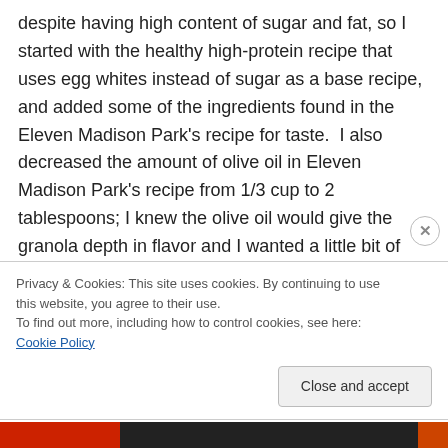despite having high content of sugar and fat, so I started with the healthy high-protein recipe that uses egg whites instead of sugar as a base recipe, and added some of the ingredients found in the Eleven Madison Park's recipe for taste.  I also decreased the amount of olive oil in Eleven Madison Park's recipe from 1/3 cup to 2 tablespoons; I knew the olive oil would give the granola depth in flavor and I wanted a little bit of that without all the fat.  I made a few substitutions based on my favorite granola ingredients to come up with the recipe below: I added almonds and cashews to the pistachio mix, and used ¼ cup of dried
Privacy & Cookies: This site uses cookies. By continuing to use this website, you agree to their use.
To find out more, including how to control cookies, see here: Cookie Policy
Close and accept